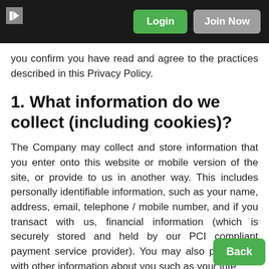Login  Join Now
you confirm you have read and agree to the practices described in this Privacy Policy.
1. What information do we collect (including cookies)?
The Company may collect and store information that you enter onto this website or mobile version of the site, or provide to us in another way. This includes personally identifiable information, such as your name, address, email, telephone / mobile number, and if you transact with us, financial information (which is securely stored and held by our PCI compliant payment service provider). You may also provide us with other information about you such as your interests and sexual preferences, gender, age and demographic information and other.